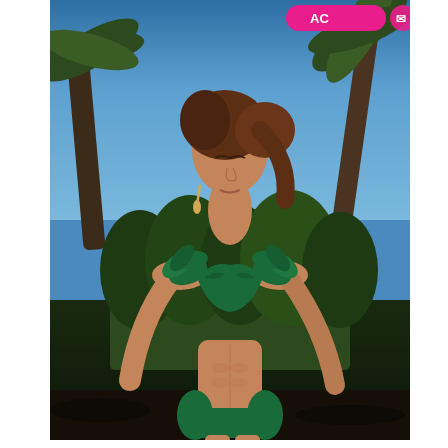[Figure (photo): Fashion photo of a woman in a green ruffled bikini set, posed outdoors among tropical palm trees and lush green foliage against a blue sky. The model is facing slightly upward with eyes closed, wearing gold hoop earrings. An Instagram-style pink UI badge is visible in the top right corner of the image.]